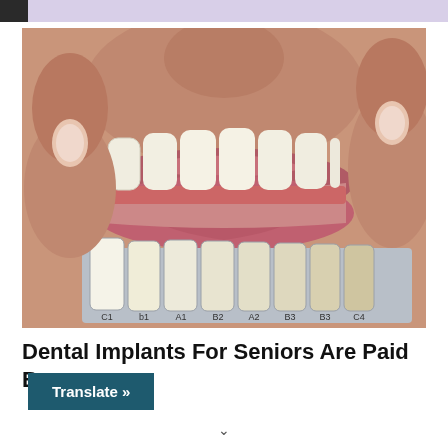[Figure (photo): Close-up photo of a person holding their lips open to show teeth, with a dental shade guide (tooth color samples labeled C1, b1, A1, B2, A2, B3, B3, C4) held below the teeth for color matching. The teeth are white/off-white and the shade guide swatches range from bright white to more yellow tones.]
Dental Implants For Seniors Are Paid By
Translate »